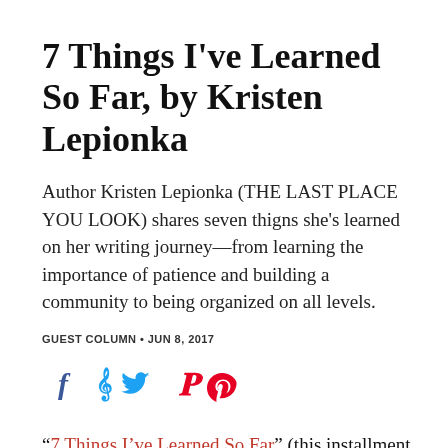7 Things I've Learned So Far, by Kristen Lepionka
Author Kristen Lepionka (THE LAST PLACE YOU LOOK) shares seven thigns she's learned on her writing journey—from learning the importance of patience and building a community to being organized on all levels.
GUEST COLUMN • JUN 8, 2017
[Figure (other): Social sharing icons: Facebook (f), Twitter (bird), Pinterest (p)]
“7 Things I've Learned So Far” (this installment